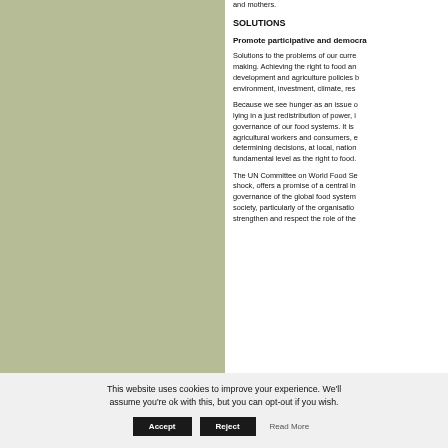[Figure (illustration): Olive/sage green rectangular panel on the left side of the page]
and mothers.
SOLUTIONS
Promote participative and democra...
Solutions to the problems of our curre... making. Achieving the right to food an... development and agriculture policies b... environment, investment, climate, res...
Because we see hunger as an issue o... lying in a just redistribution of power, i... governance of our food systems. It is... agricultural workers and consumers, e... determining decisions, at local, nation... fundamental level as the right to food.
The UN Committee on World Food Se... shock, offers a promise of a central in... governance of the global food system... society, particularly of the organisatio... strengthen and respect the role of the...
This website uses cookies to improve your experience. We'll assume you're ok with this, but you can opt-out if you wish.